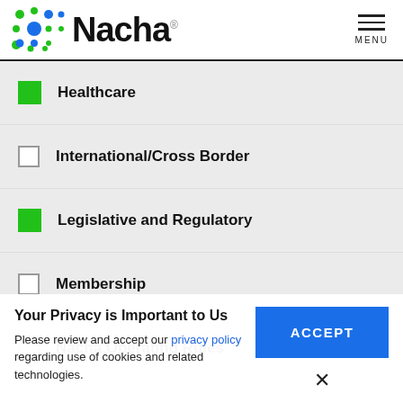[Figure (logo): Nacha logo with colorful dot pattern and bold Nacha text]
Healthcare (checked)
International/Cross Border (unchecked)
Legislative and Regulatory (checked)
Membership (unchecked)
Nacha Operating Rules (unchecked)
Your Privacy is Important to Us
Please review and accept our privacy policy regarding use of cookies and related technologies.